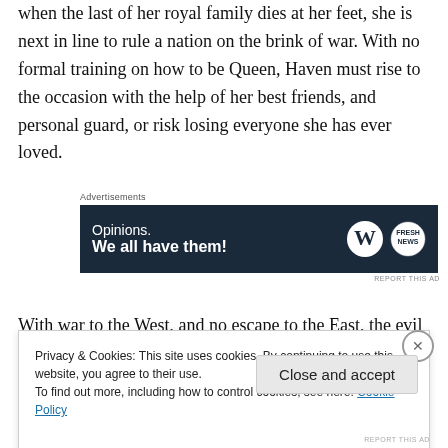when the last of her royal family dies at her feet, she is next in line to rule a nation on the brink of war. With no formal training on how to be Queen, Haven must rise to the occasion with the help of her best friends, and personal guard, or risk losing everyone she has ever loved.
[Figure (other): Advertisement banner with dark navy background. Text reads 'Opinions. We all have them!' with WordPress logo and Fresh News logo on the right.]
With war to the West, and no escape to the East, the evil
Privacy & Cookies: This site uses cookies. By continuing to use this website, you agree to their use. To find out more, including how to control cookies, see here: Cookie Policy